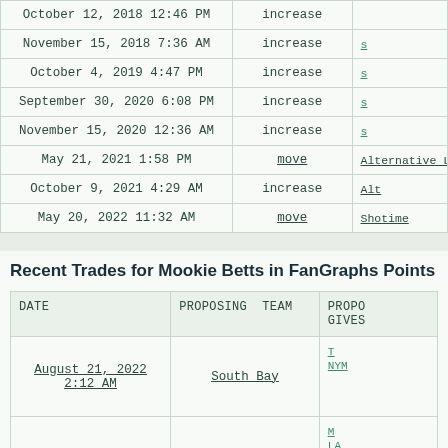| DATE | TYPE | DESTINATION |
| --- | --- | --- |
| October 12, 2018 12:46 PM | increase |  |
| November 15, 2018 7:36 AM | increase |  |
| October 4, 2019 4:47 PM | increase |  |
| September 30, 2020 6:08 PM | increase |  |
| November 15, 2020 12:36 AM | increase |  |
| May 21, 2021 1:58 PM | move | Alternative L... |
| October 9, 2021 4:29 AM | increase | Alt... |
| May 20, 2022 11:32 AM | move | Shotime |
Recent Trades for Mookie Betts in FanGraphs Points
| DATE | PROPOSING TEAM | PROPOSING TEAM GIVES |
| --- | --- | --- |
| August 21, 2022 2:12 AM | South Bay | T...
NYM... |
|  |  | M...
LA... |